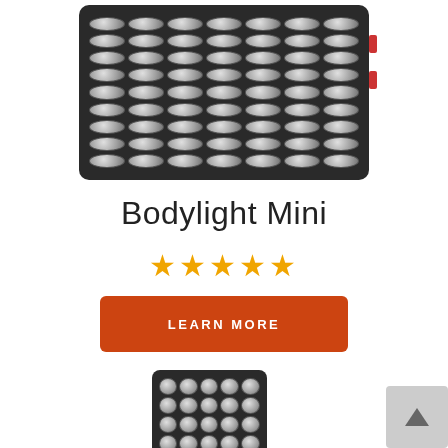[Figure (photo): A rectangular LED light therapy panel device (Bodylight Mini) with a dark charcoal/black body, featuring a grid of circular LED lights arranged in rows and columns. Two small red buttons are visible on the right side edge.]
Bodylight Mini
★★★★★
LEARN MORE
[Figure (photo): Partial view of a smaller LED light therapy panel device, showing the top portion with circular LED lights on a dark body.]